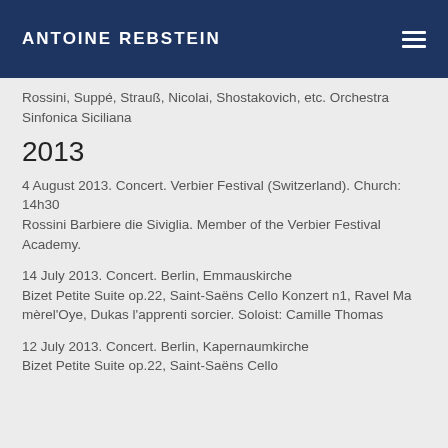ANTOINE REBSTEIN
Rossini, Suppé, Strauß, Nicolai, Shostakovich, etc. Orchestra Sinfonica Siciliana
2013
4 August 2013. Concert. Verbier Festival (Switzerland). Church: 14h30
Rossini Barbiere die Siviglia. Member of the Verbier Festival Academy.
14 July 2013. Concert. Berlin, Emmauskirche
Bizet Petite Suite op.22, Saint-Saëns Cello Konzert n1, Ravel Ma mèrel'Oye, Dukas l'apprenti sorcier. Soloist: Camille Thomas
12 July 2013. Concert. Berlin, Kapernaumkirche
Bizet Petite Suite op.22, Saint-Saëns Cello